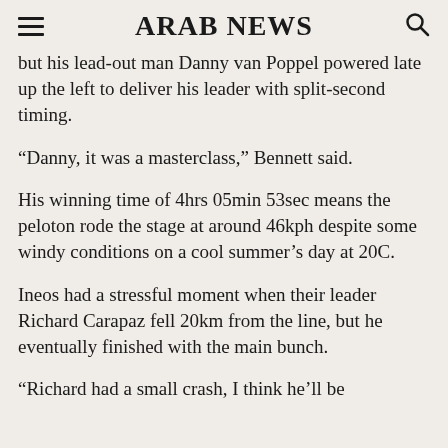ARAB NEWS
but his lead-out man Danny van Poppel powered late up the left to deliver his leader with split-second timing.
“Danny, it was a masterclass,” Bennett said.
His winning time of 4hrs 05min 53sec means the peloton rode the stage at around 46kph despite some windy conditions on a cool summer’s day at 20C.
Ineos had a stressful moment when their leader Richard Carapaz fell 20km from the line, but he eventually finished with the main bunch.
“Richard had a small crash, I think he’ll be